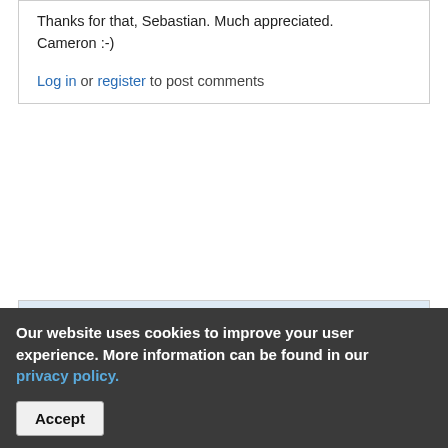Thanks for that, Sebastian. Much appreciated. Cameron :-)
Log in or register to post comments
hamishbarker
Affiliation: American Association of Variable Star Observers (AAVSO)
Mon, 03/15/2021 - 21:05
where to submit ASASSN-21co spectrum?
Our website uses cookies to improve your user experience. More information can be found in our privacy policy.
Accept